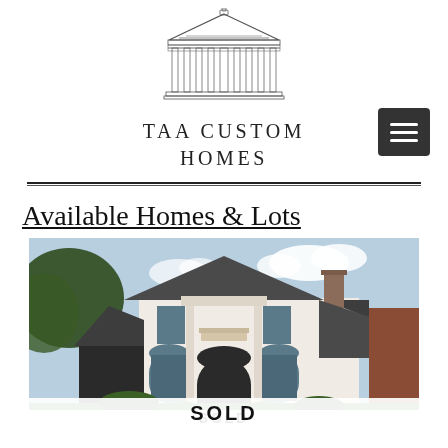[Figure (logo): TAA Custom Homes architectural logo — detailed line drawing of a classical Greek/Roman temple facade with columns, pediment, and ornamental details]
TAA CUSTOM HOMES
[Figure (other): Dark gray hamburger menu button with three horizontal white lines]
Available Homes & Lots
[Figure (photo): Exterior photo of a two-story white stucco luxury custom home with a dark gray roof, arched windows, Juliet balcony, chimney, and landscaped front yard under a partly cloudy sky. A brick building is visible to the right.]
SOLD